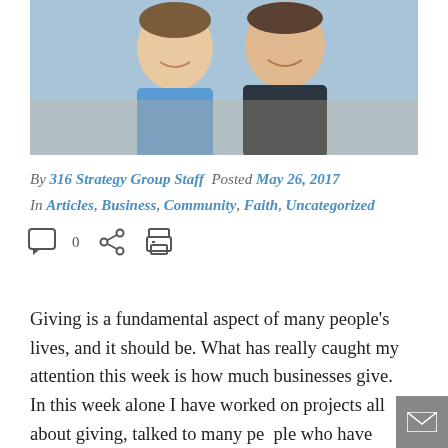[Figure (photo): Two smiling men posing together, one wearing a blue shirt, the other in a dark jacket]
By 316 Strategy Group Staff  Posted May 26, 2017
In Articles, Business, Community, Faith, Uncategorized
[Figure (infographic): Social sharing icons: comment bubble with 0, share icon, print icon]
Giving is a fundamental aspect of many people's lives, and it should be. What has really caught my attention this week is how much businesses give. In this week alone I have worked on projects all about giving, talked to many people who have heart for giving, and visited businesses that give.